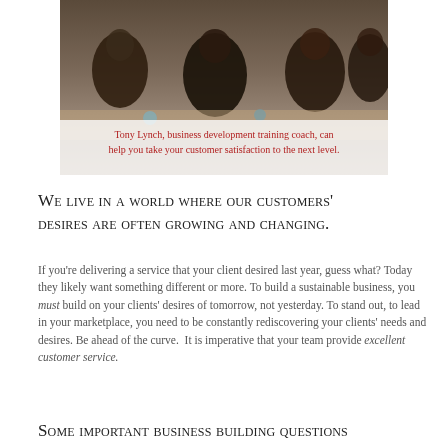[Figure (photo): Photo of people seated at a business meeting or training session, viewed from behind, with a caption overlay about Tony Lynch, business development training coach.]
Tony Lynch, business development training coach, can help you take your customer satisfaction to the next level.
We live in a world where our customers' desires are often growing and changing.
If you're delivering a service that your client desired last year, guess what? Today they likely want something different or more. To build a sustainable business, you must build on your clients' desires of tomorrow, not yesterday. To stand out, to lead in your marketplace, you need to be constantly rediscovering your clients' needs and desires. Be ahead of the curve.  It is imperative that your team provide excellent customer service.
Some important business building questions